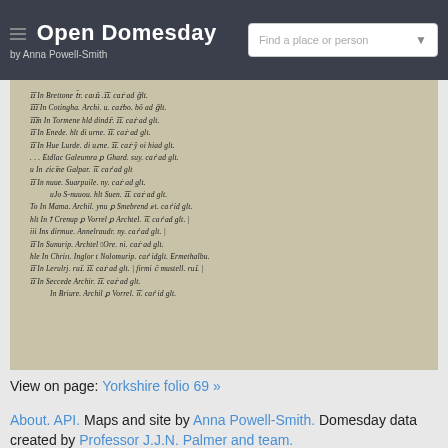Open Domesday by Anna Powell-Smith
[Figure (photo): Scanned manuscript page from Domesday Book, Yorkshire folio 69, showing medieval Latin handwritten text in dark ink on aged parchment background]
View on page: Yorkshire folio 69 »
About. API. Maps and site by Anna Powell-Smith. Domesday data created by Professor J.J.N. Palmer and team.